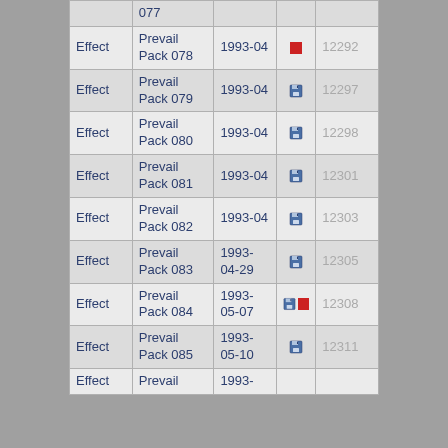|  |  |  |  |  |
| --- | --- | --- | --- | --- |
|  | 077 |  |  |  |
| Effect | Prevail Pack 078 | 1993-04 | [icon] | 12292 |
| Effect | Prevail Pack 079 | 1993-04 | [icon] | 12297 |
| Effect | Prevail Pack 080 | 1993-04 | [icon] | 12298 |
| Effect | Prevail Pack 081 | 1993-04 | [icon] | 12301 |
| Effect | Prevail Pack 082 | 1993-04 | [icon] | 12303 |
| Effect | Prevail Pack 083 | 1993-04-29 | [icon] | 12305 |
| Effect | Prevail Pack 084 | 1993-05-07 | [icons] | 12308 |
| Effect | Prevail Pack 085 | 1993-05-10 | [icon] | 12311 |
| Effect | Prevail | 1993- |  |  |